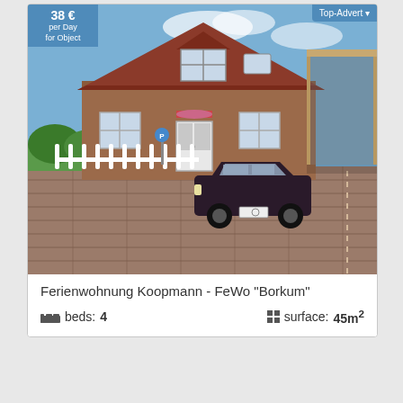[Figure (photo): Exterior photo of a German holiday apartment building (Ferienwohnung Koopmann) - a two-storey brick house with red roof, white picket fence, a dark car in the driveway, and a carport on the right. Blue sky and green garden visible.]
38 € per Day for Object
Top-Advert
Ferienwohnung Koopmann - FeWo "Borkum"
beds: 4
surface: 45m²